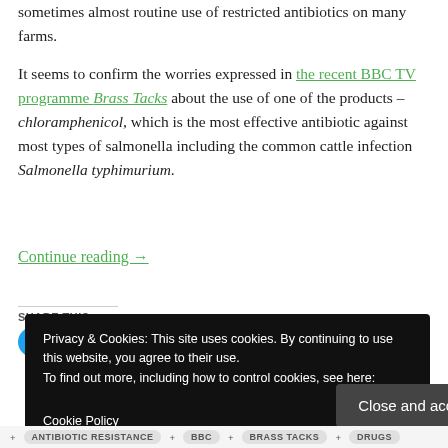sometimes almost routine use of restricted antibiotics on many farms.
It seems to confirm the worries expressed in the recent BBC TV programme Brass Tacks about the use of one of the products – chloramphenicol, which is the most effective antibiotic against most types of salmonella including the common cattle infection Salmonella typhimurium.
Continue reading →
SHARE THIS:
Tweet | Share 0
Privacy & Cookies: This site uses cookies. By continuing to use this website, you agree to their use. To find out more, including how to control cookies, see here: Cookie Policy
Close and accept
ANTIBIOTIC RESISTANCE • BBC • BRASS TACKS • DRUGS